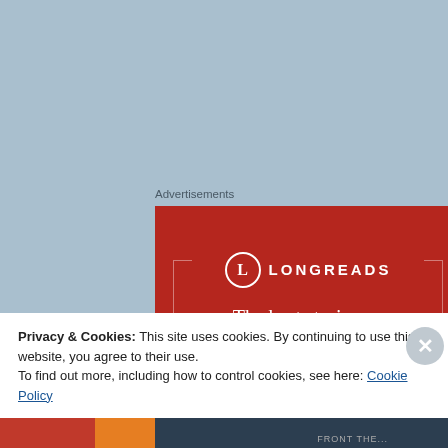Advertisements
[Figure (illustration): Longreads advertisement banner with red background. Shows Longreads logo (circle with L) and text: The best stories on the web – ours, and everyone else's.]
Privacy & Cookies: This site uses cookies. By continuing to use this website, you agree to their use.
To find out more, including how to control cookies, see here: Cookie Policy
Close and accept